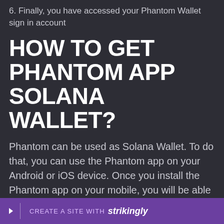6. Finally, you have accessed your Phantom Wallet sign in account
HOW TO GET PHANTOM APP SOLANA WALLET?
Phantom can be used as Solana Wallet. To do that, you can use the Phantom app on your Android or iOS device. Once you install the Phantom app on your mobile, you will be able to proceed with the wallet setup and sign-in process. To install the Phantom app on your mobile, you need to visit the App or Play S… that you a…
CREATE A SITE WITH strikingly